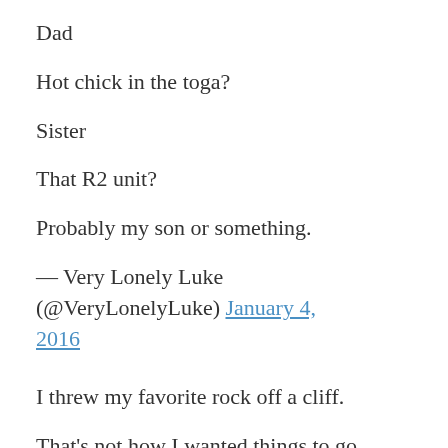Dad
Hot chick in the toga?
Sister
That R2 unit?
Probably my son or something.
— Very Lonely Luke (@VeryLonelyLuke) January 4, 2016
I threw my favorite rock off a cliff.
That's not how I wanted things to go.
I didn't have a choice.